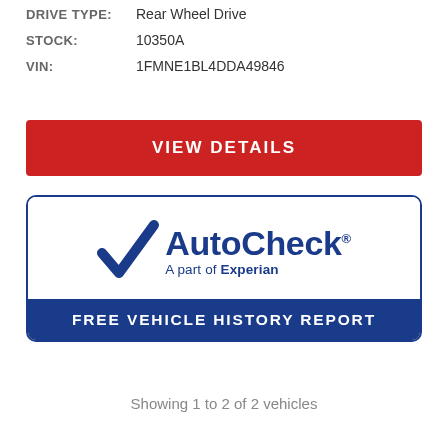DRIVE TYPE: Rear Wheel Drive
STOCK: 10350A
VIN: 1FMNE1BL4DDA49846
VIEW DETAILS
[Figure (logo): AutoCheck - A part of Experian - FREE VEHICLE HISTORY REPORT logo badge with blue checkmark, white background top section, blue banner bottom section]
Showing 1 to 2 of 2 vehicles